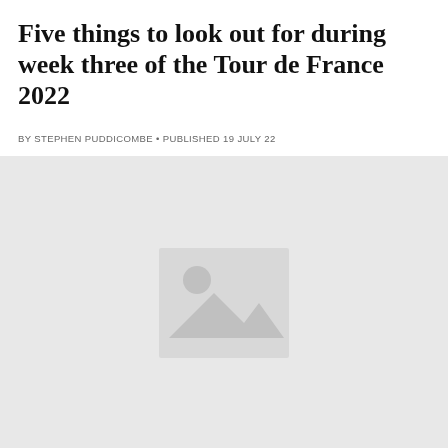Five things to look out for during week three of the Tour de France 2022
BY STEPHEN PUDDICOMBE • PUBLISHED 19 JULY 22
[Figure (photo): Placeholder image with mountain/landscape icon on grey background]
Grand Week Tail Français...